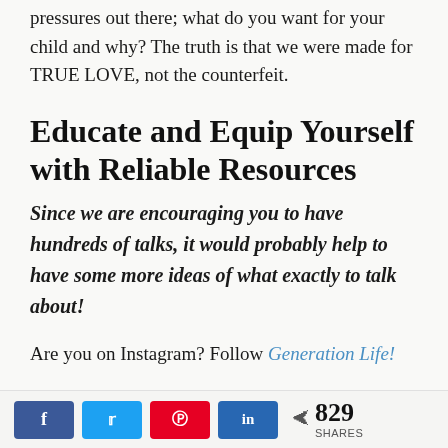pressures out there; what do you want for your child and why? The truth is that we were made for TRUE LOVE, not the counterfeit.
Educate and Equip Yourself with Reliable Resources
Since we are encouraging you to have hundreds of talks, it would probably help to have some more ideas of what exactly to talk about!
Are you on Instagram? Follow Generation Life!